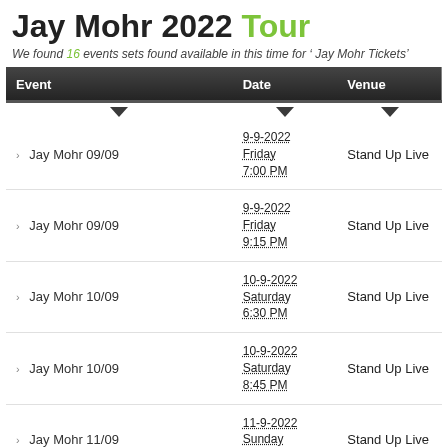Jay Mohr 2022 Tour
We found 16 events sets found available in this time for ' Jay Mohr Tickets'
| Event | Date | Venue |
| --- | --- | --- |
| Jay Mohr 09/09 | 9-9-2022 Friday 7:00 PM | Stand Up Live |
| Jay Mohr 09/09 | 9-9-2022 Friday 9:15 PM | Stand Up Live |
| Jay Mohr 10/09 | 10-9-2022 Saturday 6:30 PM | Stand Up Live |
| Jay Mohr 10/09 | 10-9-2022 Saturday 8:45 PM | Stand Up Live |
| Jay Mohr 11/09 | 11-9-2022 Sunday 6:00 PM | Stand Up Live |
| Jay Mohr 23/09 | 23-9-2022 Friday | Punch Line Comedy Club |